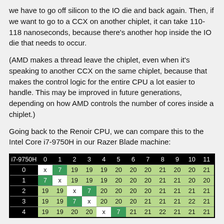we have to go off silicon to the IO die and back again. Then, if we want to go to a CCX on another chiplet, it can take 110-118 nanoseconds, because there's another hop inside the IO die that needs to occur.
(AMD makes a thread leave the chiplet, even when it's speaking to another CCX on the same chiplet, because that makes the control logic for the entire CPU a lot easier to handle. This may be improved in future generations, depending on how AMD controls the number of cores inside a chiplet.)
Going back to the Renoir CPU, we can compare this to the Intel Core i7-9750H in our Razer Blade machine:
| i7-9750H | 0 | 1 | 2 | 3 | 4 | 5 | 6 | 7 | 8 | 9 | 10 | 11 |
| --- | --- | --- | --- | --- | --- | --- | --- | --- | --- | --- | --- | --- |
| 0 | x | 7 | 19 | 19 | 19 | 20 | 20 | 20 | 21 | 20 | 20 | 21 |
| 1 | 7 | x | 19 | 19 | 19 | 20 | 20 | 20 | 21 | 21 | 20 | 20 |
| 2 | 19 | 19 | x | 7 | 20 | 20 | 20 | 20 | 21 | 21 | 21 | 21 |
| 3 | 19 | 19 | 7 | x | 20 | 20 | 20 | 21 | 21 | 21 | 22 | 21 |
| 4 | 19 | 19 | 20 | 20 | x | 7 | 21 | 21 | 22 | 21 | 21 | 21 |